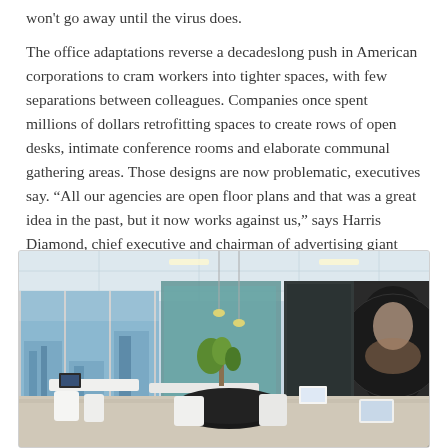won't go away until the virus does.
The office adaptations reverse a decadeslong push in American corporations to cram workers into tighter spaces, with few separations between colleagues. Companies once spent millions of dollars retrofitting spaces to create rows of open desks, intimate conference rooms and elaborate communal gathering areas. Those designs are now problematic, executives say. “All our agencies are open floor plans and that was a great idea in the past, but it now works against us,” says Harris Diamond, chief executive and chairman of advertising giant McCann Worldgroup.
[Figure (photo): Interior photo of a modern office space with open floor plan, showing desks, chairs, large windows with city view, a plant, and decorative elements.]